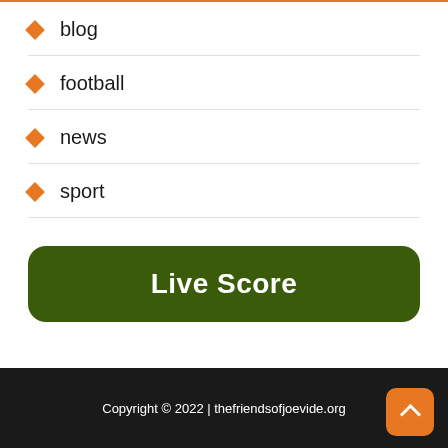blog
football
news
sport
Live Score
Copyright © 2022 | thefriendsofjoevide.org